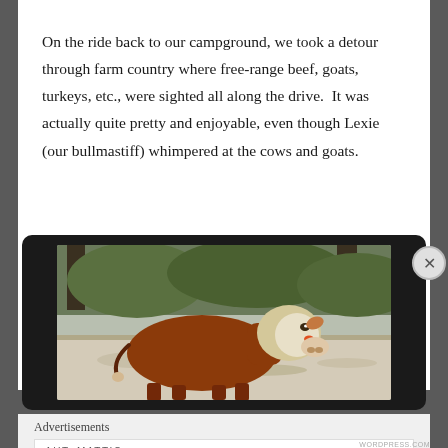On the ride back to our campground, we took a detour through farm country where free-range beef, goats, turkeys, etc., were sighted all along the drive.  It was actually quite pretty and enjoyable, even though Lexie (our bullmastiff) whimpered at the cows and goats.
[Figure (photo): A brown and white Hereford cow standing on rocky ground with green vegetation and trees in the background, displayed inside a dark rounded laptop/tablet frame.]
Advertisements
AUTOMATTIC
Build a better web and a better world.